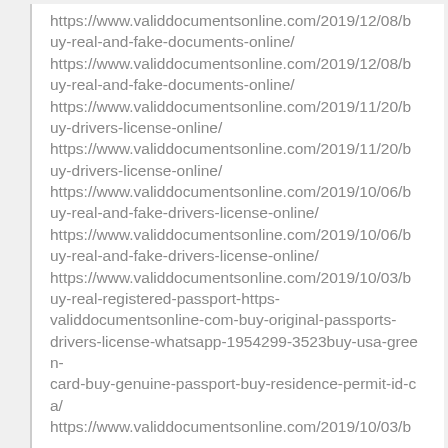https://www.validdocumentsonline.com/2019/12/08/buy-real-and-fake-documents-online/ https://www.validdocumentsonline.com/2019/12/08/buy-real-and-fake-documents-online/ https://www.validdocumentsonline.com/2019/11/20/buy-drivers-license-online/ https://www.validdocumentsonline.com/2019/11/20/buy-drivers-license-online/ https://www.validdocumentsonline.com/2019/10/06/buy-real-and-fake-drivers-license-online/ https://www.validdocumentsonline.com/2019/10/06/buy-real-and-fake-drivers-license-online/ https://www.validdocumentsonline.com/2019/10/03/buy-real-registered-passport-https-validdocumentsonline-com-buy-original-passports-drivers-license-whatsapp-1954299-3523buy-usa-green-card-buy-genuine-passport-buy-residence-permit-id-ca/ https://www.validdocumentsonline.com/2019/10/03/b